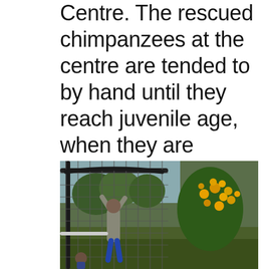Centre. The rescued chimpanzees at the centre are tended to by hand until they reach juvenile age, when they are housed in large enclosures to simulate natural forest
[Figure (photo): A person reaching up toward a large wire mesh enclosure fence among lush green vegetation and yellow flowering plants, with trees visible in the background.]